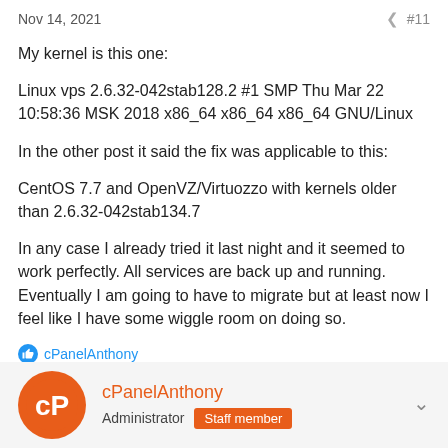Nov 14, 2021    #11
My kernel is this one:
Linux vps 2.6.32-042stab128.2 #1 SMP Thu Mar 22 10:58:36 MSK 2018 x86_64 x86_64 x86_64 GNU/Linux
In the other post it said the fix was applicable to this:
CentOS 7.7 and OpenVZ/Virtuozzo with kernels older than 2.6.32-042stab134.7
In any case I already tried it last night and it seemed to work perfectly. All services are back up and running. Eventually I am going to have to migrate but at least now I feel like I have some wiggle room on doing so.
cPanelAnthony
cPanelAnthony  Administrator  Staff member